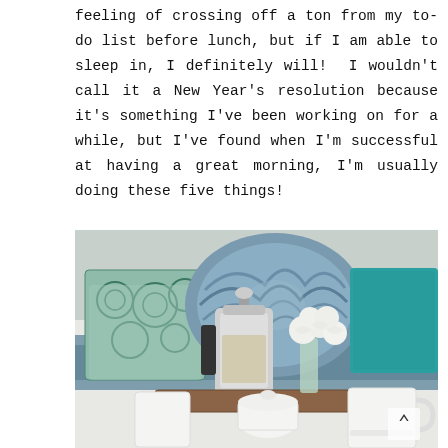feeling of crossing off a ton from my to-do list before lunch, but if I am able to sleep in, I definitely will!  I wouldn't call it a New Year's resolution because it's something I've been working on for a while, but I've found when I'm successful at having a great morning, I'm usually doing these five things!
[Figure (photo): A cozy bed scene with decorative blue and teal pillows, a wooden breakfast tray holding a French press coffee maker, white mugs, a small white sugar bowl, and a vase of white roses. The background shows a blue throw blanket and patterned pillows.]